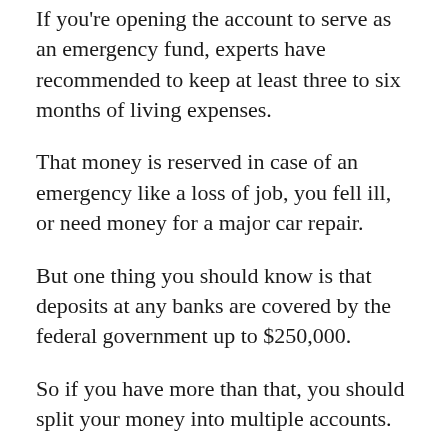If you're opening the account to serve as an emergency fund, experts have recommended to keep at least three to six months of living expenses.
That money is reserved in case of an emergency like a loss of job, you fell ill, or need money for a major car repair.
But one thing you should know is that deposits at any banks are covered by the federal government up to $250,000.
So if you have more than that, you should split your money into multiple accounts.
WHO IS A CIT BANK ACCOUNT GOOD FOR?